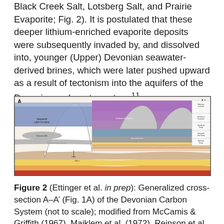Black Creek Salt, Lotsberg Salt, and Prairie Evaporite; Fig. 2). It is postulated that these deeper lithium-enriched evaporite deposits were subsequently invaded by, and dissolved into, younger (Upper) Devonian seawater-derived brines, which were later pushed upward as a result of tectonism into the aquifers of the Devonian carbonate system.11
[Figure (engineering-diagram): Generalized cross-section A–A' of the Devonian Carbon System showing layered geological strata. The diagram shows a cross-section from point A (left) to A' (right) with various colored geological layers including purple, blue, gray, yellow, red, and white formations. A prominent white dome/arch structure labeled 'Peace River Arch' is visible in the left-center area, with two gray dome-like structures to the right. Legend labels on the right side indicate formation names including Wabamun/Lacombe, Winterburn Formation, Woodbend Group, Beaverhill Lake Group, and Elk Point Group.]
Figure 2 (Ettinger et al. in prep): Generalized cross-section A–A' (Fig. 1A) of the Devonian Carbon System (not to scale); modified from McCamis & Griffith (1967), Maiklem et al. (1972), Reinson et al.